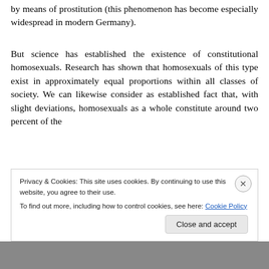by means of prostitution (this phenomenon has become especially widespread in modern Germany).
But science has established the existence of constitutional homosexuals. Research has shown that homosexuals of this type exist in approximately equal proportions within all classes of society. We can likewise consider as established fact that, with slight deviations, homosexuals as a whole constitute around two percent of the
Privacy & Cookies: This site uses cookies. By continuing to use this website, you agree to their use.
To find out more, including how to control cookies, see here: Cookie Policy